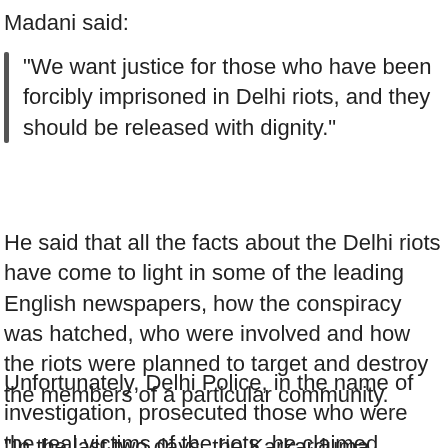Madani said:
"We want justice for those who have been forcibly imprisoned in Delhi riots, and they should be released with dignity."
He said that all the facts about the Delhi riots have come to light in some of the leading English newspapers, how the conspiracy was hatched, who were involved and how the riots were planned to target and destroy the members of a particular community.
Unfortunately, Delhi Police, in the name of investigation, prosecuted those who were the real victims of the riots, he claimed.
"In the last two days, the Karkarduma Sessions Court has granted conditional bail to accused Shadab Ahmed,